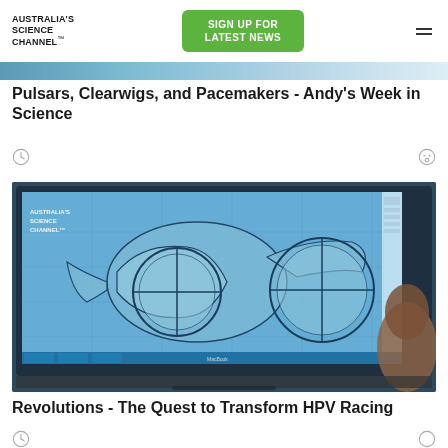AUSTRALIA'S SCIENCE CHANNEL™ | SIGN UP FOR LATEST NEWS
[Figure (photo): Partial view of article image strip at top of page, showing blue-toned scientific imagery]
Pulsars, Clearwigs, and Pacemakers - Andy's Week in Science
[Figure (photo): CAD engineering design on a computer monitor showing a 3D model of what appears to be a human-powered vehicle (HPV) design. Australia's Science Channel logo watermark in upper left. Person's head visible in lower right of frame.]
Revolutions - The Quest to Transform HPV Racing